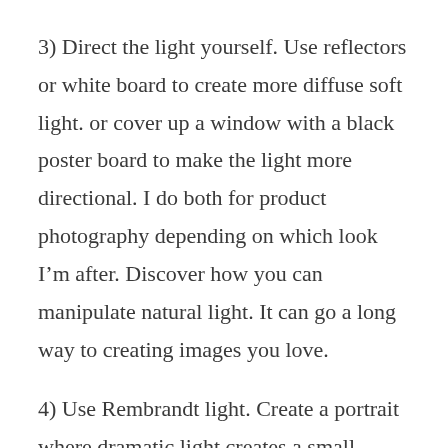3) Direct the light yourself. Use reflectors or white board to create more diffuse soft light. or cover up a window with a black poster board to make the light more directional. I do both for product photography depending on which look I'm after. Discover how you can manipulate natural light. It can go a long way to creating images you love.
4) Use Rembrandt light. Create a portrait where dramatic light creates a small inverted triangle under the shadowed part of a person's face. This is a moody and dramatic style of lighting that is best